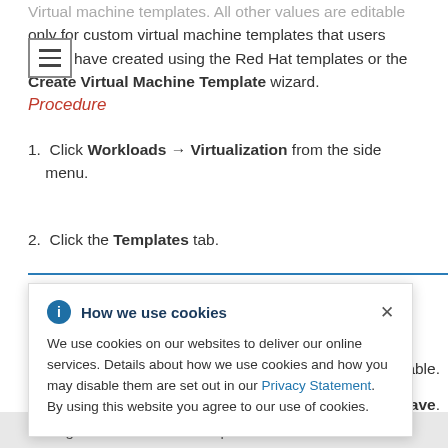Virtual machine templates. All other values are editable only for custom virtual machine templates that users have created using the Red Hat templates or the Create Virtual Machine Template wizard.
[Figure (other): Navigation hamburger menu icon (three horizontal lines in a bordered box)]
Procedure
1. Click Workloads → Virtualization from the side menu.
2. Click the Templates tab.
[Figure (screenshot): Cookie consent popup overlay: 'How we use cookies' with info icon and close X button. Body text: 'We use cookies on our websites to deliver our online services. Details about how we use cookies and how you may disable them are set out in our Privacy Statement. By using this website you agree to our use of cookies.']
Editing a virtual machine template will not affect